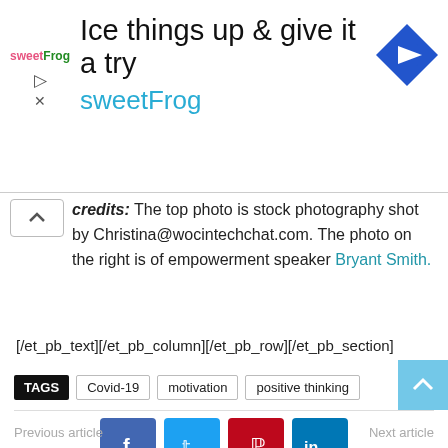[Figure (other): Advertisement banner for sweetFrog frozen yogurt: 'Ice things up & give it a try sweetFrog' with logo and navigation icon]
credits: The top photo is stock photography shot by Christina@wocintechchat.com. The photo on the right is of empowerment speaker Bryant Smith.
[/et_pb_text][/et_pb_column][/et_pb_row][/et_pb_section]
TAGS  Covid-19  motivation  positive thinking
[Figure (other): Social media share buttons: Facebook, Twitter, Pinterest, LinkedIn]
Previous article    Next article